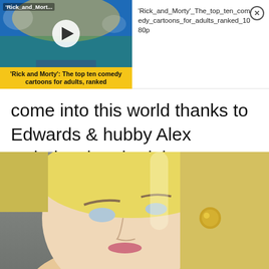[Figure (screenshot): Video ad thumbnail for Rick and Morty animated cartoon with play button, colorful animated background, and yellow caption bar reading 'Rick and Morty': The top ten comedy cartoons for adults, ranked]
'Rick_and_Morty'_The_top_ten_comedy_cartoons_for_adults_ranked_1080p
come into this world thanks to Edwards & hubby Alex Oxlade-Chamberlain.
[Figure (photo): Close-up photo of a blonde woman with blue eyes, wearing a gold earring, with hair pulled back, looking upward at the camera against a grey background.]